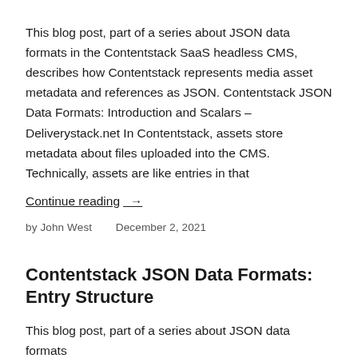This blog post, part of a series about JSON data formats in the Contentstack SaaS headless CMS, describes how Contentstack represents media asset metadata and references as JSON. Contentstack JSON Data Formats: Introduction and Scalars – Deliverystack.net In Contentstack, assets store metadata about files uploaded into the CMS. Technically, assets are like entries in that
Continue reading →
by John West   December 2, 2021
Contentstack JSON Data Formats: Entry Structure
This blog post, part of a series about JSON data formats